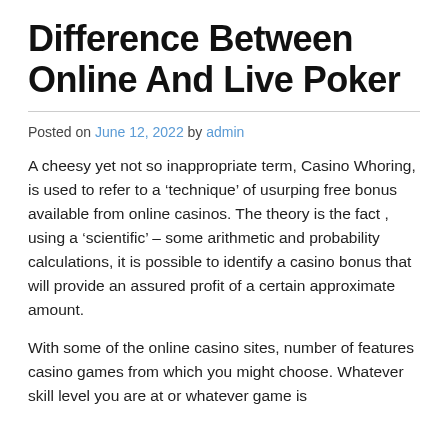Difference Between Online And Live Poker
Posted on June 12, 2022 by admin
A cheesy yet not so inappropriate term, Casino Whoring, is used to refer to a ‘technique’ of usurping free bonus available from online casinos. The theory is the fact , using a ‘scientific’ – some arithmetic and probability calculations, it is possible to identify a casino bonus that will provide an assured profit of a certain approximate amount.
With some of the online casino sites, number of features casino games from which you might choose. Whatever skill level you are at or whatever game is